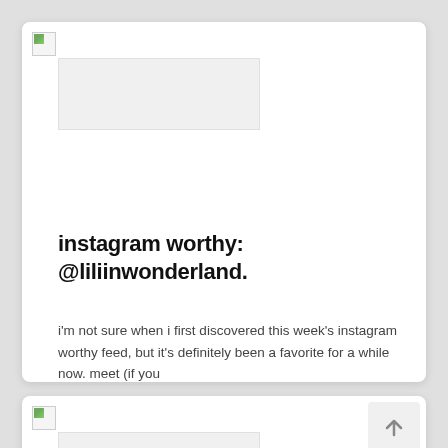[Figure (screenshot): Broken image placeholder at top of first card with a grey image stub below it]
instagram worthy: @liliinwonderland.
i'm not sure when i first discovered this week's instagram worthy feed, but it's definitely been a favorite for a while now. meet (if you
[Figure (screenshot): Partially visible second card at bottom with broken image placeholder and scroll-to-top button]